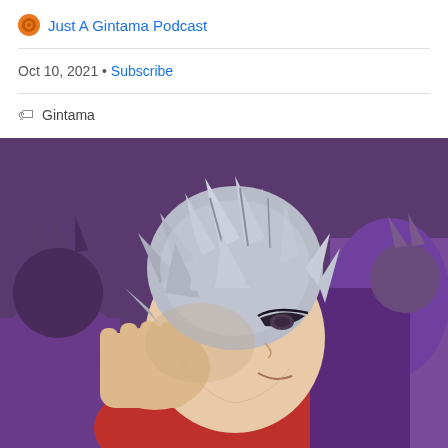Just A Gintama Podcast
Oct 10, 2021 • Subscribe
Gintama
[Figure (illustration): Anime character with silver/white hair resting his face on his hand, wearing a red and purple outfit. The character appears to be Gintoki from Gintama, with a slightly smirking expression looking to the side.]